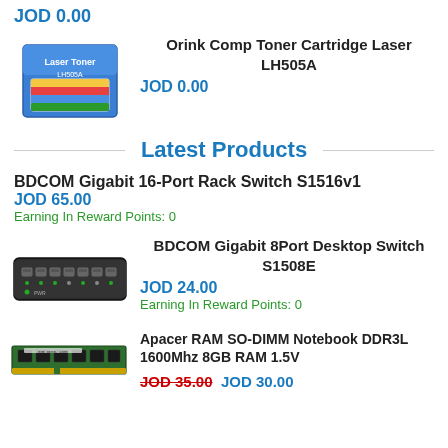JOD 0.00
[Figure (photo): Orink Comp Toner Cartridge Laser LH505A product box image]
Orink Comp Toner Cartridge Laser LH505A
JOD 0.00
Latest Products
BDCOM Gigabit 16-Port Rack Switch S1516v1
JOD 65.00
Earning In Reward Points:  0
[Figure (photo): BDCOM Gigabit 8Port Desktop Switch S1508E product image]
BDCOM Gigabit 8Port Desktop Switch S1508E
JOD 24.00
Earning In Reward Points:  0
[Figure (photo): Apacer RAM SO-DIMM Notebook DDR3L 1600Mhz 8GB RAM 1.5V product image]
Apacer RAM SO-DIMM Notebook DDR3L 1600Mhz 8GB RAM 1.5V
JOD 35.00 JOD 30.00